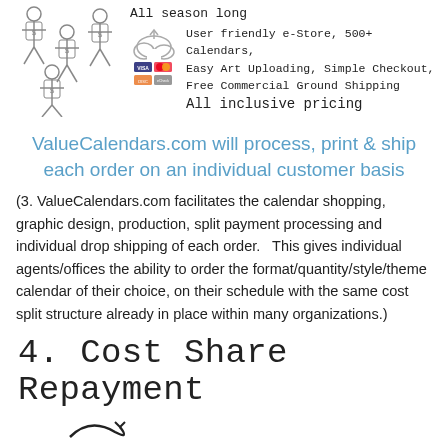[Figure (illustration): Hand-drawn stick figures of people wearing shirts with dollar signs, arranged in a group]
All season long
[Figure (illustration): Cloud upload icon with payment card logos (Visa, Mastercard, Discover)]
User friendly e-Store, 500+ Calendars, Easy Art Uploading, Simple Checkout, Free Commercial Ground Shipping
All inclusive pricing
ValueCalendars.com will process, print & ship each order on an individual customer basis
(3. ValueCalendars.com facilitates the calendar shopping, graphic design, production, split payment processing and individual drop shipping of each order.   This gives individual agents/offices the ability to order the format/quantity/style/theme calendar of their choice, on their schedule with the same cost split structure already in place within many organizations.)
4. Cost Share Repayment